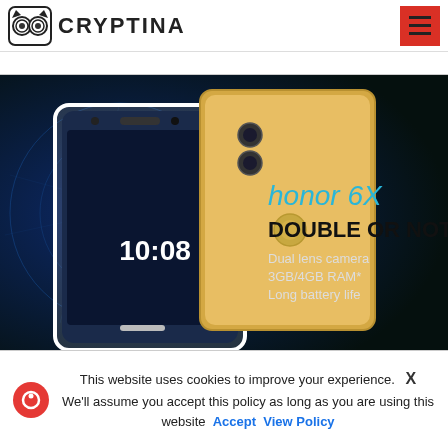[Figure (logo): Cryptina website logo with owl-like icon and CRYPTINA text, and red hamburger menu button]
[Figure (photo): Honor 6X smartphone advertisement showing two phones (white front and gold back), with text 'honor 6X', 'DOUBLE OR NOTHING', 'Dual lens camera', '3GB/4GB RAM*', 'Long battery life' on a dark blue tech background]
This website uses cookies to improve your experience.  X We'll assume you accept this policy as long as you are using this website Accept View Policy